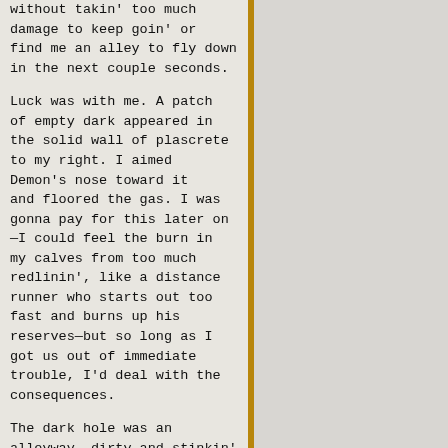without takin' too much damage to keep goin' or find me an alley to fly down in the next couple seconds.

Luck was with me. A patch of empty dark appeared in the solid wall of plascrete to my right. I aimed Demon's nose toward it and floored the gas. I was gonna pay for this later on—I could feel the burn in my calves from too much redlinin', like a distance runner who starts out too fast and burns up his reserves—but so long as I got us out of immediate trouble, I'd deal with the consequences.

The dark hole was an alleyway, dirty and stinkin' and narrow. We took the turn a hair too sharply; my right arm caught fire as poor Demon scraped a fender against the side of a crumblin' factory. Now she'd need a new paint job
[Figure (illustration): A heavily-armed, stocky fantasy dwarf or troll character with horns, grey beard, wearing armor and carrying multiple weapons including what appears to be a large hammer or gun. The character is rendered in a detailed, colorful comic/game art style with orange-brown tones.]